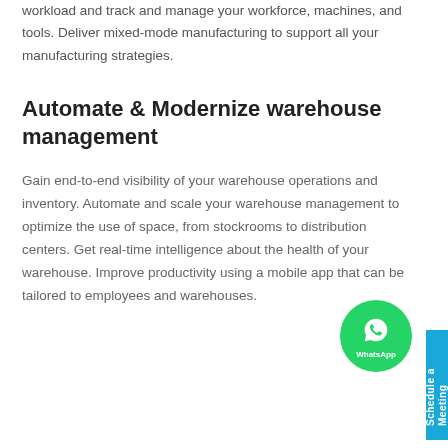workload and track and manage your workforce, machines, and tools. Deliver mixed-mode manufacturing to support all your manufacturing strategies.
Automate & Modernize warehouse management
Gain end-to-end visibility of your warehouse operations and inventory. Automate and scale your warehouse management to optimize the use of space, from stockrooms to distribution centers. Get real-time intelligence about the health of your warehouse. Improve productivity using a mobile app that can be tailored to employees and warehouses.
[Figure (other): WhatsApp contact button (green circle with WhatsApp logo and label) and blue vertical 'Schedule a Meeting' sidebar button]